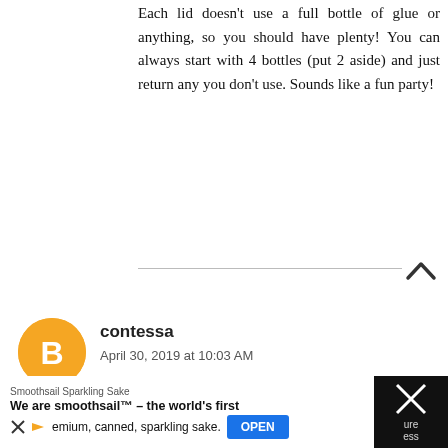Each lid doesn't use a full bottle of glue or anything, so you should have plenty! You can always start with 4 bottles (put 2 aside) and just return any you don't use. Sounds like a fun party!
contessa
April 30, 2019 at 10:03 AM
This is really cute. Could you use plain white glue instead of the clear? (cheaper)
TheJerseyMomma
April 30, 2019 at 6:38 PM
[Figure (other): Advertisement banner: Smoothsail Sparkling Sake - We are smoothsail - the world's first premium, canned, sparkling sake. With OPEN button.]